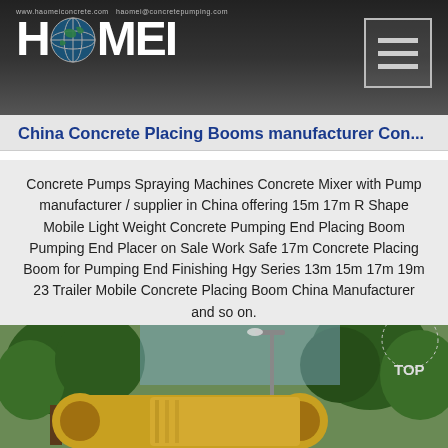HAOMEI
China Concrete Placing Booms manufacturer Con...
Concrete Pumps Spraying Machines Concrete Mixer with Pump manufacturer / supplier in China offering 15m 17m R Shape Mobile Light Weight Concrete Pumping End Placing Boom Pumping End Placer on Sale Work Safe 17m Concrete Placing Boom for Pumping End Finishing Hgy Series 13m 15m 17m 19m 23 Trailer Mobile Concrete Placing Boom China Manufacturer and so on.
Get Price
[Figure (photo): Construction equipment photo showing a yellow concrete placing boom/mixer truck with trees in background and a TOP badge overlay]